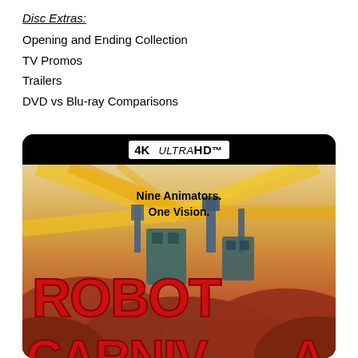Disc Extras:
Opening and Ending Collection
TV Promos
Trailers
DVD vs Blu-ray Comparisons
[Figure (photo): 4K Ultra HD Blu-ray cover art for 'Robot Carnival' showing the title in large red letters with animated robot imagery and the tagline 'Nine Animators. One Vision.' on a dramatic illustrated background with rays of light and clouds.]